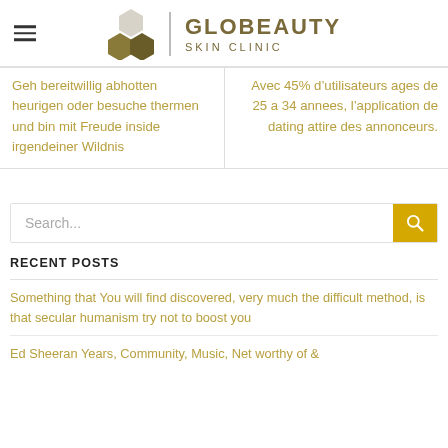[Figure (logo): Globeauty Skin Clinic logo with hexagonal shapes and text]
Geh bereitwillig abhotten heurigen oder besuche thermen und bin mit Freude inside irgendeiner Wildnis
Avec 45% d’utilisateurs ages de 25 a 34 annees, l’application de dating attire des annonceurs.
Search...
RECENT POSTS
Something that You will find discovered, very much the difficult method, is that secular humanism try not to boost you
Ed Sheeran Years, Community, Music, Net worthy of &